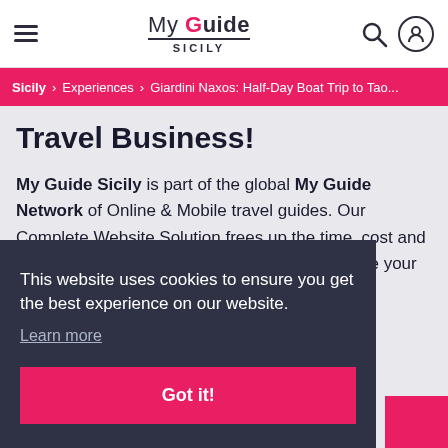My Guide SICILY
Sicily > Experiences > Giardini Naxos: Half-Day Boat Trip to Tao...
Travel Business!
My Guide Sicily is part of the global My Guide Network of Online & Mobile travel guides. Our Complete Website Solution frees up the time, cost and technical expertise required to build and operate your own successful online travel business.
This website uses cookies to ensure you get the best experience on our website.
Learn more
Got it!